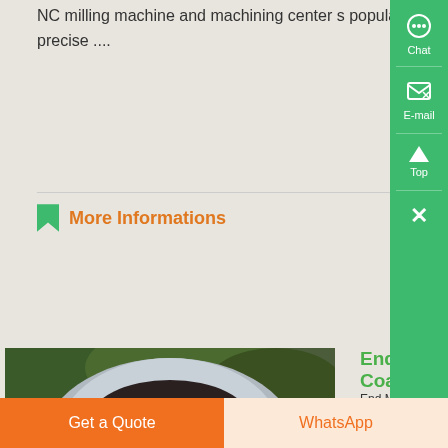NC milling machine and machining center s popularization, each kind of precise ....
More Informations
End Mill Coatings
[Figure (photo): A bag of small grinding media balls (ball mill balls) sitting on grass]
End Mill Coatings A very important process that allows the carbide end mill to resist wear is the coating Coatings enable the cutting tool to evacuate chips from the flutes faster thereby getting the HOT chips off of the end mill s ground surface Heat not carbide s friend In the last deca
Get a Quote | WhatsApp